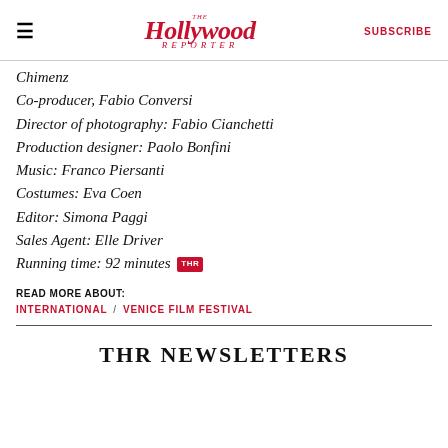The Hollywood Reporter | SUBSCRIBE
Chimenz
Co-producer, Fabio Conversi
Director of photography: Fabio Cianchetti
Production designer: Paolo Bonfini
Music: Franco Piersanti
Costumes: Eva Coen
Editor: Simona Paggi
Sales Agent: Elle Driver
Running time: 92 minutes THR
READ MORE ABOUT:
INTERNATIONAL / VENICE FILM FESTIVAL
THR NEWSLETTERS